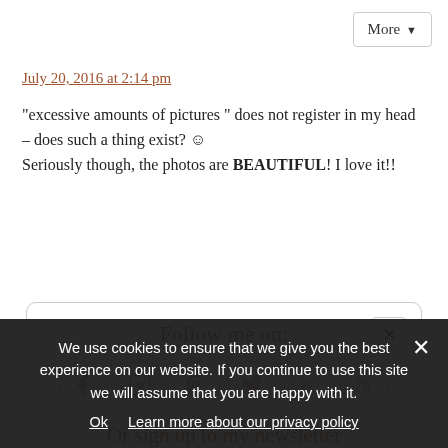More ▾
July 20, 2016 at 2:14 pm
“excessive amounts of pictures ” does not register in my head – does such a thing exist? ☺ Seriously though, the photos are BEAUTIFUL! I love it!!
Follow me on:
[Figure (infographic): Six circular social media icons: Facebook (f), Instagram (camera), Pinterest (P), Twitter (bird), Bloglovin (B), RSS feed]
Or sign up to my newsletter
We use cookies to ensure that we give you the best experience on our website. If you continue to use this site we will assume that you are happy with it.
Ok   Learn more about our privacy policy